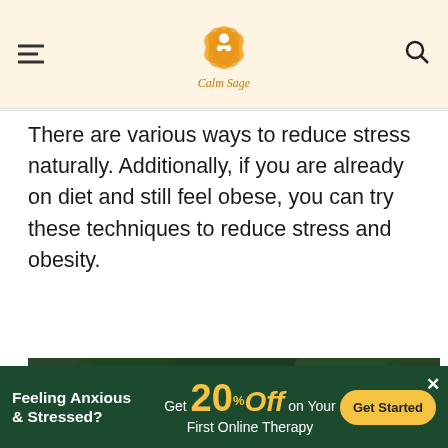Calm Sage
There are various ways to reduce stress naturally. Additionally, if you are already on diet and still feel obese, you can try these techniques to reduce stress and obesity.
[Figure (photo): Woman with head tilted back, eyes closed, relaxing outdoors in front of green foliage with purple flowers, appearing peaceful and stress-free]
Feeling Anxious & Stressed? Get 20% Off on Your First Online Therapy Get Started